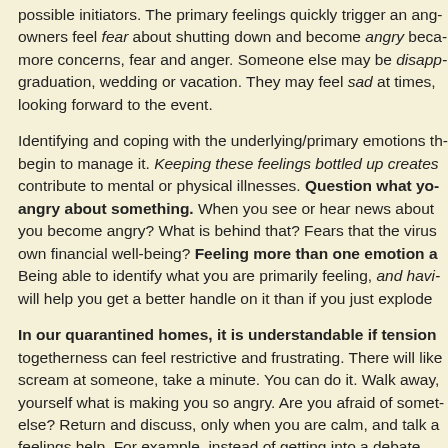possible initiators. The primary feelings quickly trigger an angry owners feel fear about shutting down and become angry because more concerns, fear and anger. Someone else may be disappointed about graduation, wedding or vacation. They may feel sad at times, looking forward to the event.
Identifying and coping with the underlying/primary emotions that begin to manage it. Keeping these feelings bottled up creates contribute to mental or physical illnesses. Question what you are angry about something. When you see or hear news about you become angry? What is behind that? Fears that the virus own financial well-being? Feeling more than one emotion a Being able to identify what you are primarily feeling, and having will help you get a better handle on it than if you just explode
In our quarantined homes, it is understandable if tension togetherness can feel restrictive and frustrating. There will like scream at someone, take a minute. You can do it. Walk away, yourself what is making you so angry. Are you afraid of something else? Return and discuss, only when you are calm, and talk a feelings help. For example, instead of getting into a debate